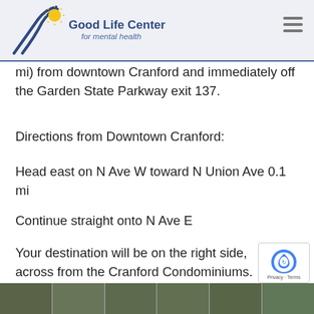Good Life Center for mental health
mi) from downtown Cranford and immediately off the Garden State Parkway exit 137.
Directions from Downtown Cranford:
Head east on N Ave W toward N Union Ave 0.1 mi
Continue straight onto N Ave E
Your destination will be on the right side, across from the Cranford Condominiums.
[Figure (photo): Photo strip showing multiple exterior building photos at the bottom of the page]